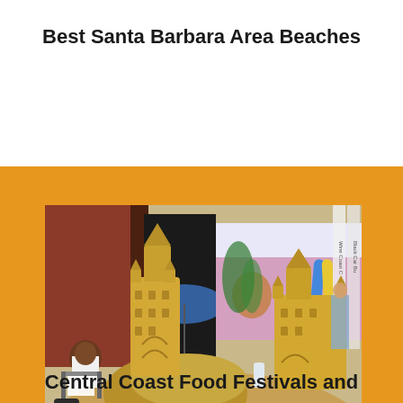Best Santa Barbara Area Beaches
[Figure (photo): A man working on large elaborate sand castles at an outdoor event, with a 'Wine & Waves' banner and colorful surfboards visible in the background. Two large detailed sand castle sculptures are the central focus.]
Central Coast Food Festivals and